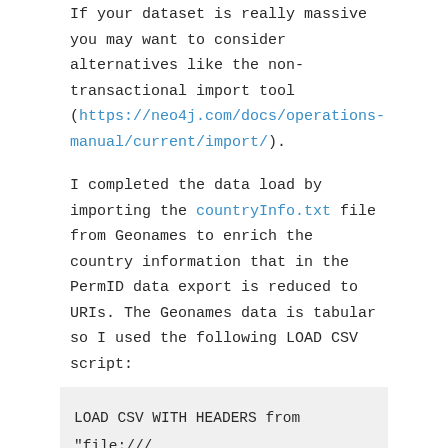If your dataset is really massive you may want to consider alternatives like the non-transactional import tool (https://neo4j.com/docs/operations-manual/current/import/).
I completed the data load by importing the countryInfo.txt file from Geonames to enrich the country information that in the PermID data export is reduced to URIs. The Geonames data is tabular so I used the following LOAD CSV script:
LOAD CSV WITH HEADERS from "file:///
MATCH (r:Resource { uri: "http://sws